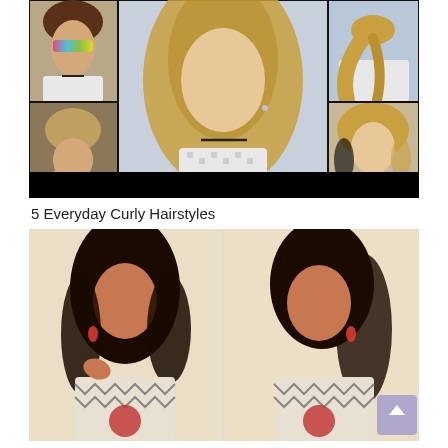[Figure (photo): Collage of 5 everyday curly hairstyles featuring a blonde young woman with curly hair shown in 5 different styles: top left - updo with rainbow sunglasses, center - half-up half-down curly style, top right - high curly ponytail from the back, bottom left - messy bun updo, bottom right - curly hair down with side styling. Black bar at bottom of collage.]
5 Everyday Curly Hairstyles
[Figure (photo): Two side-by-side photos of a young Indian woman with dark curly hair wearing a white and grey chevron patterned top with red accents. Left photo shows hair worn down and curly. Right photo shows hair swept to the side.]